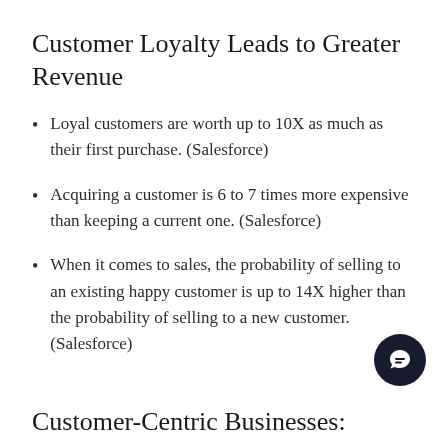Customer Loyalty Leads to Greater Revenue
Loyal customers are worth up to 10X as much as their first purchase. (Salesforce)
Acquiring a customer is 6 to 7 times more expensive than keeping a current one. (Salesforce)
When it comes to sales, the probability of selling to an existing happy customer is up to 14X higher than the probability of selling to a new customer. (Salesforce)
Customer-Centric Businesses: